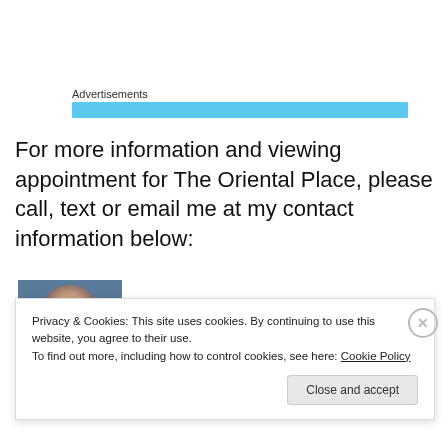Advertisements
For more information and viewing appointment for The Oriental Place, please call, text or email me at my contact information below:
[Figure (photo): Portrait photo of a person with dark hair against a blue/grey background]
Privacy & Cookies: This site uses cookies. By continuing to use this website, you agree to their use.
To find out more, including how to control cookies, see here: Cookie Policy